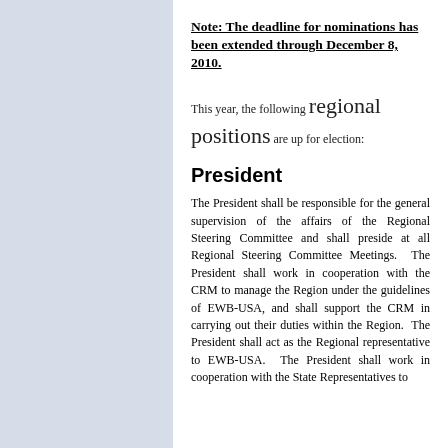Note:  The deadline for nominations has been extended through December 8, 2010.
This year, the following regional positions are up for election:
President
The President shall be responsible for the general supervision of the affairs of the Regional Steering Committee and shall preside at all Regional Steering Committee Meetings.  The President shall work in cooperation with the CRM to manage the Region under the guidelines of EWB-USA, and shall support the CRM in carrying out their duties within the Region.  The President shall act as the Regional representative to EWB-USA.  The President shall work in cooperation with the State Representatives to